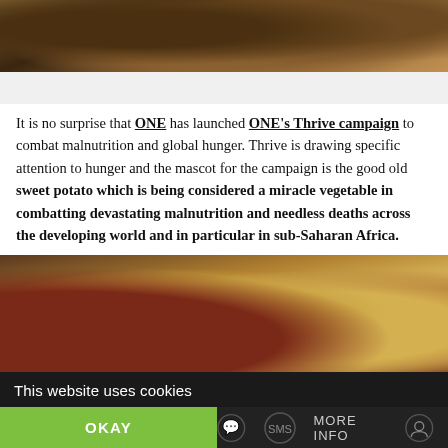[Figure (photo): Close-up photo of sweet potatoes being held, with green foliage in background]
It is no surprise that ONE has launched ONE's Thrive campaign to combat malnutrition and global hunger. Thrive is drawing specific attention to hunger and the mascot for the campaign is the good old sweet potato which is being considered a miracle vegetable in combatting devastating malnutrition and needless deaths across the developing world and in particular in sub-Saharan Africa.
[Figure (photo): Photo of assorted sweet potatoes at a market stall — red/purple, cream/yellow, and brown varieties piled in groups]
Diff...
This website uses cookies
OKAY
MORE INFO